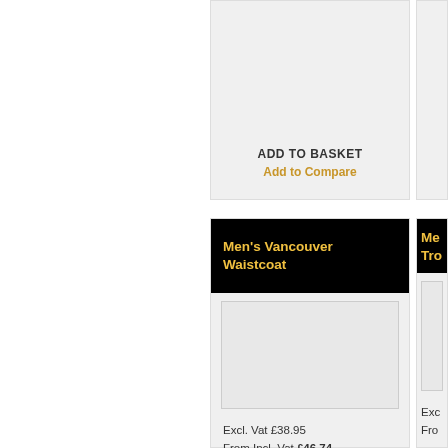ADD TO BASKET
Add to Compare
Men's Vancouver Waistcoat
[Figure (photo): Product image placeholder for Men's Vancouver Waistcoat]
Excl. Vat £38.95
From Incl. Vat £46.74
Product Ref: 1541
Me... Tro...
[Figure (photo): Partial product image placeholder for second product (cropped)]
Exc...
Fro...
Pro...